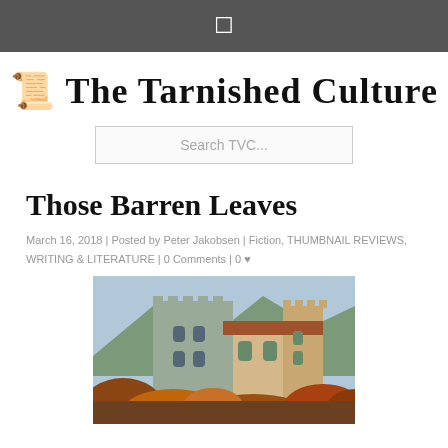☰
The Tarnished Culture
Search TVC...
Those Barren Leaves
March 16, 2018 | Posted by Peter Jakobsen | Fiction, THUMBNAIL REVIEWS, WRITING & LITERATURE | 0 Comments | 0 ♥
[Figure (photo): Photograph of a medieval stone castle with crenellated towers and terracotta roof, surrounded by autumn foliage and mountains in the background.]